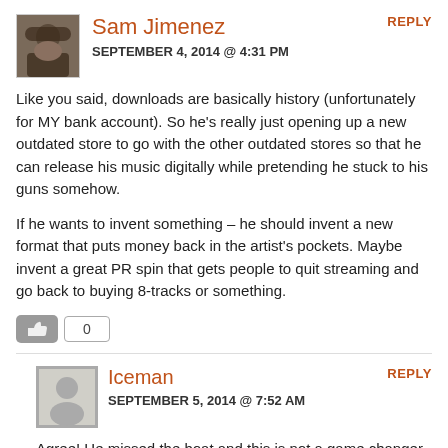Sam Jimenez
SEPTEMBER 4, 2014 @ 4:31 PM
REPLY
Like you said, downloads are basically history (unfortunately for MY bank account). So he's really just opening up a new outdated store to go with the other outdated stores so that he can release his music digitally while pretending he stuck to his guns somehow.
If he wants to invent something – he should invent a new format that puts money back in the artist's pockets. Maybe invent a great PR spin that gets people to quit streaming and go back to buying 8-tracks or something.
Iceman
SEPTEMBER 5, 2014 @ 7:52 AM
REPLY
Agree! He missed the boat and this is not a game changer. If he wanted to enter as a game changer, help eliminate the greedy outdated record companies. Make the music prices a win for the artist and the fans.